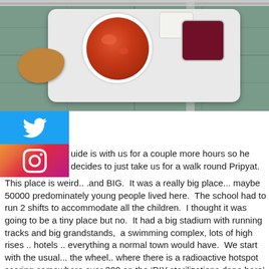[Figure (photo): Overhead view of a school cafeteria lunch tray with a bowl of red soup/borscht, a piece of bread, a small cup of dark juice/drink, and a small cup of white sauce, placed on a tiled floor background]
[Figure (logo): Twitter bird logo icon on blue background]
[Figure (logo): Instagram camera logo icon on gradient background]
uide is with us for a couple more hours so he decides to just take us for a walk round Pripyat.  This place is weird.. .and BIG.  It was a really big place... maybe 50000 predominately young people lived here.  The school had to run 2 shifts to accommodate all the children.  I thought it was going to be a tiny place but no.  It had a big stadium with running tracks and big grandstands,  a swimming complex, lots of high rises .. hotels .. everything a normal town would have.  We start with the usual... the wheel.. where there is a radioactive hotspot scoring somewhere over 300 on the 'DIY sterilizations done here' scale.